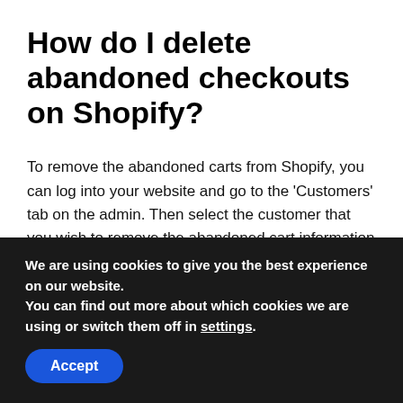How do I delete abandoned checkouts on Shopify?
To remove the abandoned carts from Shopify, you can log into your website and go to the ‘Customers’ tab on the admin. Then select the customer that you wish to remove the abandoned cart information of. Then click on the option to ‘Erase Personal Data’ that is located in the bottom right of the page.
How do I remove a product tag
We are using cookies to give you the best experience on our website.
You can find out more about which cookies we are using or switch them off in settings.